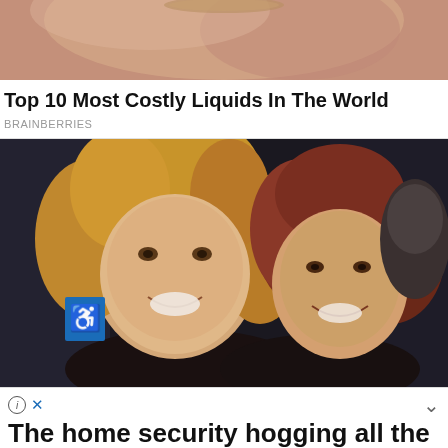[Figure (photo): Partial photo at top, showing skin/body — cropped top of page]
Top 10 Most Costly Liquids In The World
BRAINBERRIES
[Figure (photo): Two women smiling and posing together at what appears to be a social event. Wheelchair accessibility sign visible in background on left.]
⊙ ×
The home security hogging all the awards.
SimpliSafe protects every inch of your home with 24/7 monitoring and no contract. Winner of CNET Editors' Choice (3/2018). Prote...
continue